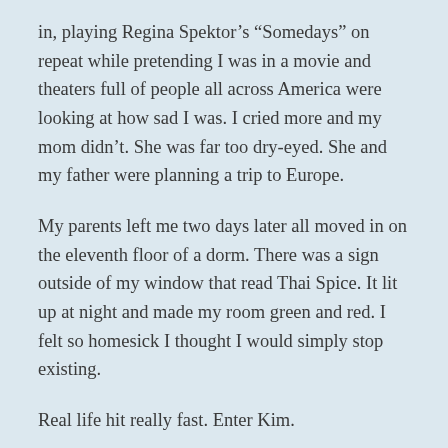in, playing Regina Spektor's “Somedays” on repeat while pretending I was in a movie and theaters full of people all across America were looking at how sad I was. I cried more and my mom didn’t. She was far too dry-eyed. She and my father were planning a trip to Europe.
My parents left me two days later all moved in on the eleventh floor of a dorm. There was a sign outside of my window that read Thai Spice. It lit up at night and made my room green and red. I felt so homesick I thought I would simply stop existing.
Real life hit really fast. Enter Kim.
What you need to know about Kim is that she was my first